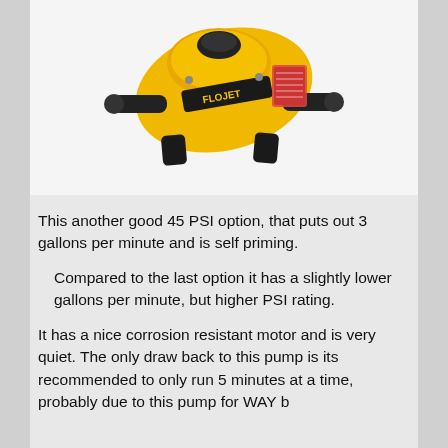[Figure (photo): Yellow and black water pump (FLOJET brand) with black fittings and mounting feet, photographed on white background]
This another good 45 PSI option, that puts out 3 gallons per minute and is self priming.
Compared to the last option it has a slightly lower gallons per minute, but higher PSI rating.
It has a nice corrosion resistant motor and is very quiet. The only draw back to this pump is its recommended to only run 5 minutes at a time, probably due to this pump for WAY b...